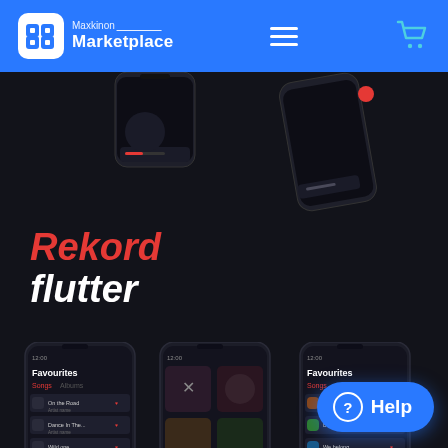Maxkinon Marketplace
[Figure (screenshot): Dark-themed music app UI showcase named 'Rekord flutter' showing multiple phone mockups with music player screens, favourites lists, and album art grids on a dark navy background.]
Rekord flutter